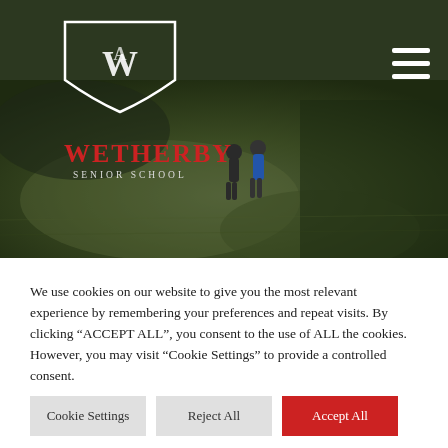[Figure (photo): Wetherby Senior School website screenshot showing a hero image of a grassy field with two students walking, the school logo (shield with WS monogram) in white at top left, school name 'WETHERBY SENIOR SCHOOL' in red below the shield, and a hamburger menu icon at the top right.]
We use cookies on our website to give you the most relevant experience by remembering your preferences and repeat visits. By clicking "ACCEPT ALL", you consent to the use of ALL the cookies. However, you may visit "Cookie Settings" to provide a controlled consent.
Cookie Settings
Reject All
Accept All